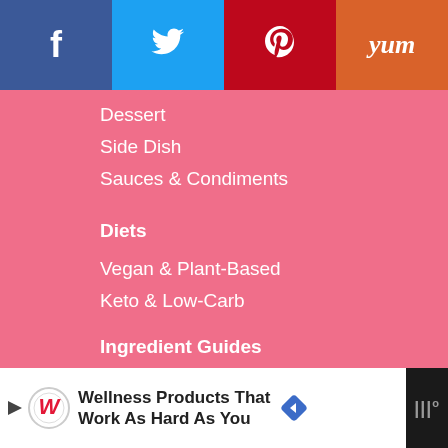[Figure (infographic): Social share bar with four buttons: Facebook (dark blue, f icon), Twitter (light blue, bird icon), Pinterest (red, P icon), Yummly (orange, yum text)]
Dessert
Side Dish
Sauces & Condiments
Diets
Vegan & Plant-Based
Keto & Low-Carb
Ingredient Guides
Cheese
Chocolate
Beef
[Figure (advertisement): Walgreens ad banner: 'Wellness Products That Work As Hard As You' with Walgreens logo, navigation arrow diamond icon, and brand logo on dark background]